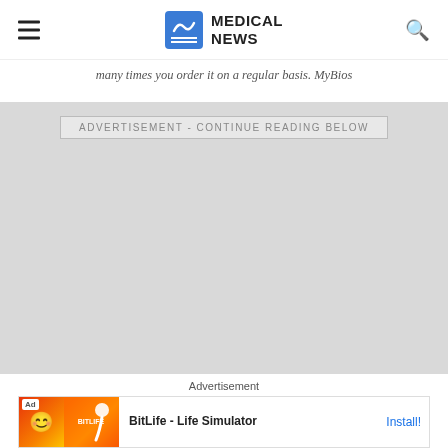MEDICAL NEWS
many times you order it on a regular basis. MyBios
[Figure (other): Advertisement placeholder area with text 'ADVERTISEMENT - CONTINUE READING BELOW' on a light gray background]
Advertisement
[Figure (screenshot): Banner ad for BitLife - Life Simulator app with colorful background, smiley face, and Install button]